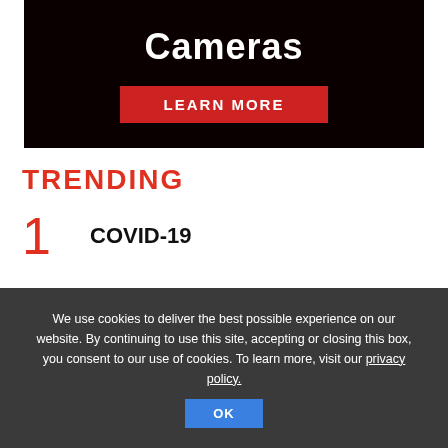[Figure (infographic): Dark advertisement banner with white bold text 'Cameras' and a red 'LEARN MORE' button on a black background]
TRENDING
1  COVID-19
2  Networking & Wireless
We use cookies to deliver the best possible experience on our website. By continuing to use this site, accepting or closing this box, you consent to our use of cookies. To learn more, visit our privacy policy.